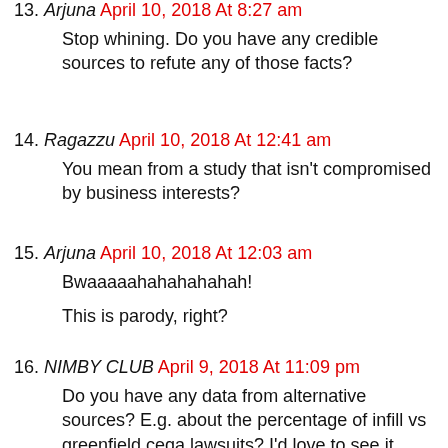13. Arjuna April 10, 2018 At 8:27 am — Stop whining. Do you have any credible sources to refute any of those facts?
14. Ragazzu April 10, 2018 At 12:41 am — You mean from a study that isn't compromised by business interests?
15. Arjuna April 10, 2018 At 12:03 am — Bwaaaaahahahahahah! This is parody, right?
16. NIMBY CLUB April 9, 2018 At 11:09 pm — Do you have any data from alternative sources? E.g. about the percentage of infill vs greenfield ceqa lawsuits? I'd love to see it